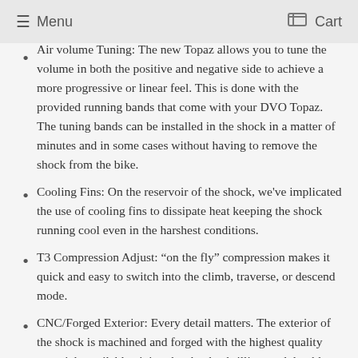Menu  Cart
Air volume Tuning: The new Topaz allows you to tune the volume in both the positive and negative side to achieve a more progressive or linear feel. This is done with the provided running bands that come with your DVO Topaz. The tuning bands can be installed in the shock in a matter of minutes and in some cases without having to remove the shock from the bike.
Cooling Fins: On the reservoir of the shock, we've implicated the use of cooling fins to dissipate heat keeping the shock running cool even in the harshest conditions.
T3 Compression Adjust: “on the fly” compression makes it quick and easy to switch into the climb, traverse, or descend mode.
CNC/Forged Exterior: Every detail matters. The exterior of the shock is machined and forged with the highest quality materials available giving the shock a brilliant and durable finish.